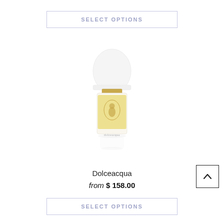SELECT OPTIONS
[Figure (illustration): A small perfume bottle with a large white rounded cap, a gold collar, and a white rectangular body with a golden cameo illustration and small text label reading 'dolceacqua', filled with yellow/golden liquid.]
Dolceacqua
from $ 158.00
SELECT OPTIONS